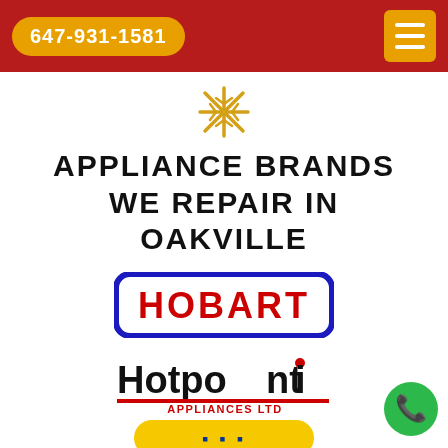647-931-1581
[Figure (illustration): Decorative snowflake icon in gold/yellow color]
APPLIANCE BRANDS WE REPAIR IN OAKVILLE
[Figure (logo): Hobart brand logo — bold red text 'HOBART' inside a blue rounded rectangle border]
[Figure (logo): Hotpoint Appliances Ltd brand logo — black bold 'Hotpoint' with red dot over i, red underline, 'APPLIANCES LTD' in red small caps below]
[Figure (logo): Partial logo visible at bottom of page — yellow and blue colors, partially cropped]